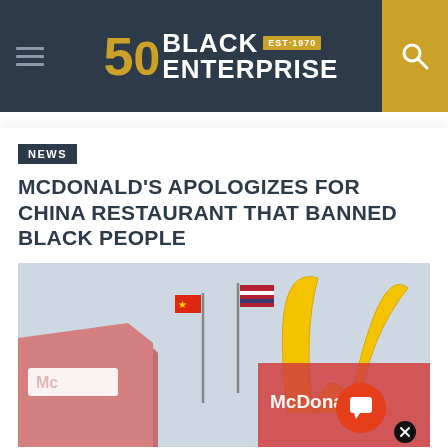Black Enterprise — EST. 1970
NEWS
MCDONALD'S APOLOGIZES FOR CHINA RESTAURANT THAT BANNED BLACK PEOPLE
[Figure (photo): McDonald's restaurant exterior showing golden arches sign and flags, with a red and white building visible]